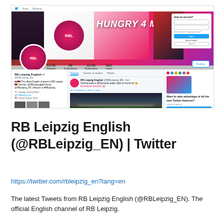[Figure (screenshot): Screenshot of RB Leipzig English Twitter profile page (@RBLeipzig_EN) showing banner image with 'HUNGRY 4 MORE' text, profile picture, stats (11.5k tweets, 56 following, 31.9k followers, 822 likes), tweets section, and login popup]
RB Leipzig English (@RBLeipzig_EN) | Twitter
https://twitter.com/rbleipzig_en?lang=en
The latest Tweets from RB Leipzig English (@RBLeipzig_EN). The official English channel of RB Leipzig.